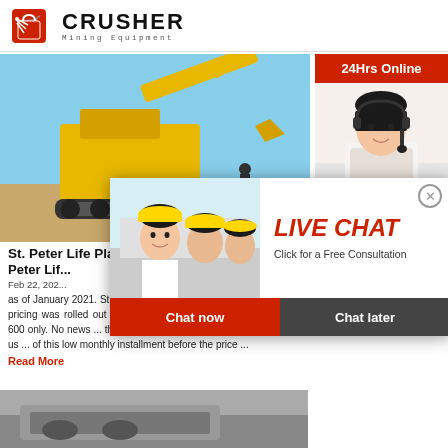CRUSHER Mining Equipment
[Figure (photo): Large yellow mining/excavating machinery at a construction site against blue sky]
St. Peter Life Plan Latest Price...
Peter Lif...
Feb 22, 202... as of January 2021. St. Peter Life Plan Latest P... 2021. This new pricing was rolled out last quart... years ago, it used to be Php 600 only. No news ... the next price increase will happen. Contact us ... of this low monthly installment before the price ...
Read More
[Figure (photo): Second article image - appears to be vehicle or machinery]
[Figure (screenshot): Live Chat popup overlay with workers in hard hats, LIVE CHAT heading in red italic, Click for a Free Consultation text, Chat now and Chat later buttons]
[Figure (photo): Sidebar: 24Hrs Online banner with female customer service agent wearing headset]
Need questions & suggestion?
Chat Now
Enquiry
limingjlmofen@sina.com